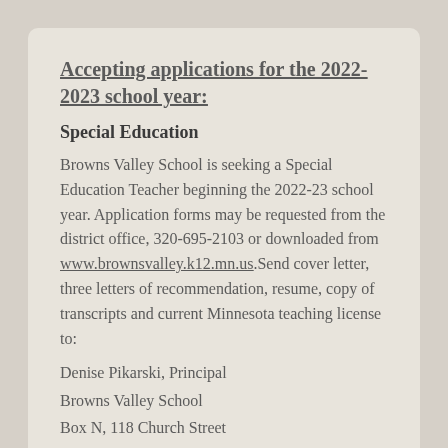Accepting applications for the 2022-2023 school year:
Special Education
Browns Valley School is seeking a Special Education Teacher beginning the 2022-23 school year. Application forms may be requested from the district office, 320-695-2103 or downloaded from www.brownsvalley.k12.mn.us. Send cover letter, three letters of recommendation, resume, copy of transcripts and current Minnesota teaching license to:
Denise Pikarski, Principal
Browns Valley School
Box N, 118 Church Street
Browns Valley, MN 56219
dpikarski@brownsvalley.k12.mn.us